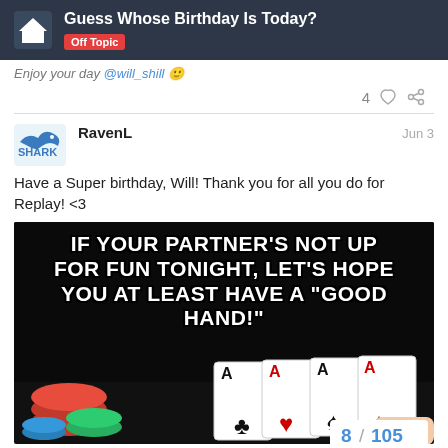Guess Whose Birthday Is Today? Off Topic
Enjoy your day @will_shill 🙂
4 ♡ 🔗
RavenL  Jun 3
Have a Super birthday, Will! Thank you for all you do for Replay! <3
[Figure (photo): Meme image on black background with white bold text reading: IF YOUR PARTNER'S NOT UP FOR FUN TONIGHT, LET'S HOPE YOU AT LEAST HAVE A "GOOD HAND!" with a photo of four aces playing cards and colorful poker chips in the lower portion.]
8 / 105